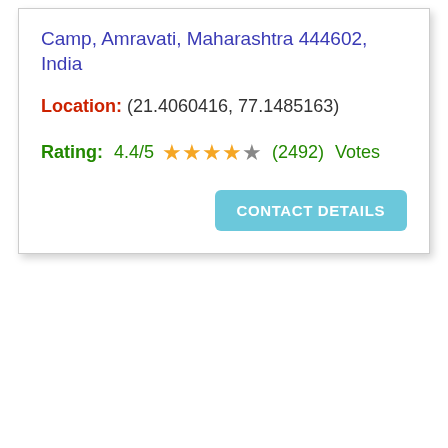Camp, Amravati, Maharashtra 444602, India
Location: (21.4060416, 77.1485163)
Rating: 4.4/5 ★★★★☆ (2492) Votes
CONTACT DETAILS